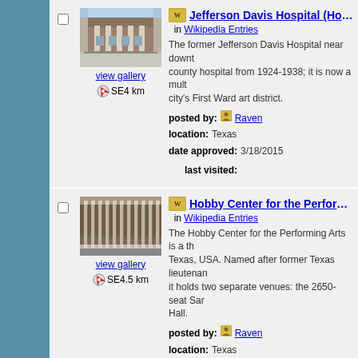[Figure (photo): Brick building with columns — Jefferson Davis Hospital, Houston]
view gallery
SE4 km
Jefferson Davis Hospital (Houston,
in Wikipedia Entries
The former Jefferson Davis Hospital near downtown county hospital from 1924-1938; it is now a multi city's First Ward art district.
posted by: Raven
location: Texas
date approved: 3/18/2015   last visited:
[Figure (photo): Modern building with vertical columns — Hobby Center for the Performing Arts, Houston]
view gallery
SE4.5 km
Hobby Center for the Performing A
in Wikipedia Entries
The Hobby Center for the Performing Arts is a th Texas, USA. Named after former Texas lieutenan it holds two separate venues: the 2650-seat Sar Hall.
posted by: Raven
location: Texas
date approved: 4/5/2013   last visited:
Heritage Plaza (Houston, Texas)